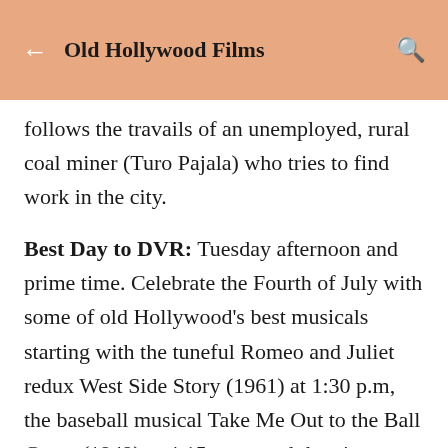Old Hollywood Films
follows the travails of an unemployed, rural coal miner (Turo Pajala) who tries to find work in the city.
Best Day to DVR: Tuesday afternoon and prime time. Celebrate the Fourth of July with some of old Hollywood's best musicals starting with the tuneful Romeo and Juliet redux West Side Story (1961) at 1:30 p.m, the baseball musical Take Me Out to the Ball Game (1949) at 4:15 p.m., and the pioneer days toe-tapper Seven Brides for Seven Brothers (1954) at 6 p.m. It wouldn't be Independence Day on TCM without either H...